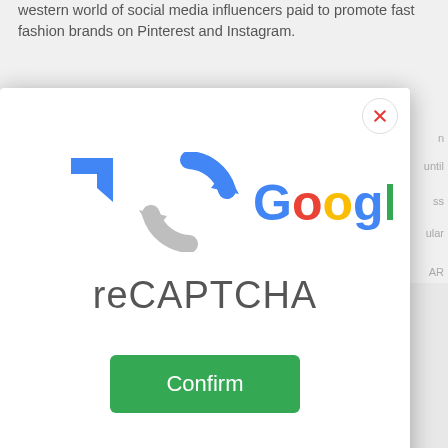western world of social media influencers paid to promote fast fashion brands on Pinterest and Instagram.
[Figure (screenshot): Google reCAPTCHA modal dialog with reCAPTCHA logo (circular arrows icon in blue and grey), Google wordmark in multicolor, 'reCAPTCHA' text in dark grey, a green Confirm button, and a red X close button in the top right corner.]
[Figure (photo): Blurred/greyed out image below the modal, showing indistinct human silhouettes on a light grey background.]